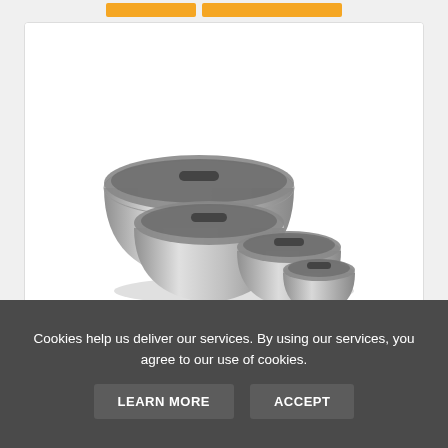[Figure (photo): Stainless steel mixing bowls set with black lids, stacked in various sizes]
Meal Prep Stainless Steel Mixing Bowls S...
only $27.39
Cookies help us deliver our services. By using our services, you agree to our use of cookies.
LEARN MORE
ACCEPT